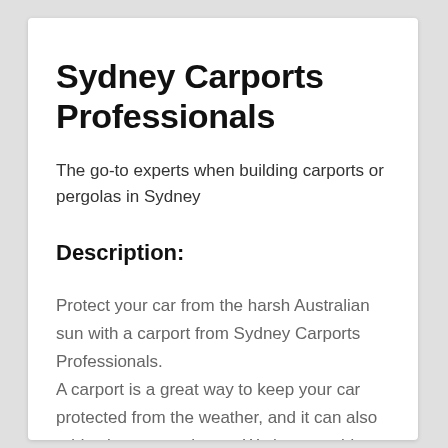Sydney Carports Professionals
The go-to experts when building carports or pergolas in Sydney
Description:
Protect your car from the harsh Australian sun with a carport from Sydney Carports Professionals. A carport is a great way to keep your car protected from the weather, and it can also add value to your home. We have a wide range of carports and pergolas to choose from, so you can find the perfect one for your needs. Our professional team of builders will work closely with